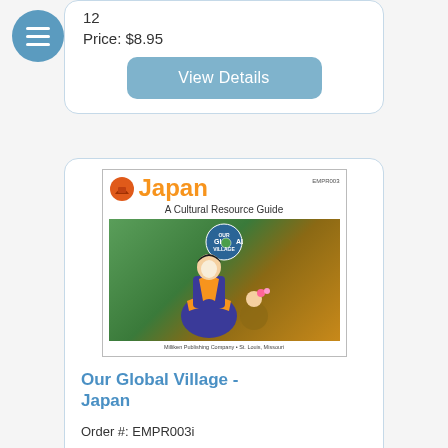12
Price: $8.95
View Details
[Figure (photo): Book cover: 'Japan – A Cultural Resource Guide' published by Miliken Publishing Company, St. Louis, Missouri. Features a person in traditional Japanese costume (blue and orange kimono) with a Global Village series badge.]
Our Global Village - Japan
Order #: EMPR003i
ISBN13: 978-1-77344-688-2